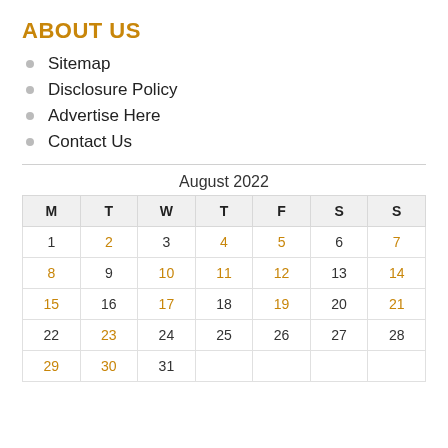ABOUT US
Sitemap
Disclosure Policy
Advertise Here
Contact Us
| M | T | W | T | F | S | S |
| --- | --- | --- | --- | --- | --- | --- |
| 1 | 2 | 3 | 4 | 5 | 6 | 7 |
| 8 | 9 | 10 | 11 | 12 | 13 | 14 |
| 15 | 16 | 17 | 18 | 19 | 20 | 21 |
| 22 | 23 | 24 | 25 | 26 | 27 | 28 |
| 29 | 30 | 31 |  |  |  |  |